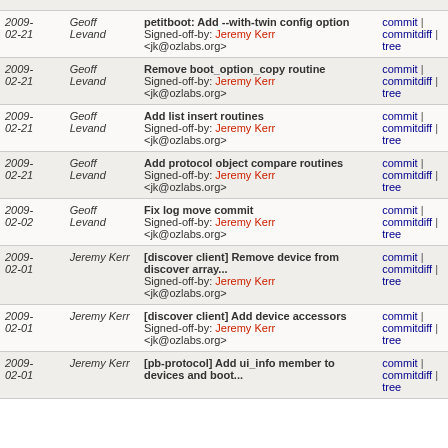| Date | Author | Message | Links |
| --- | --- | --- | --- |
|  |  | <jk@ozlabs.org> | commit | commitdiff | tree |
| 2009-02-21 | Geoff Levand | petitboot: Add --with-twin config option
Signed-off-by: Jeremy Kerr <jk@ozlabs.org> | commit | commitdiff | tree |
| 2009-02-21 | Geoff Levand | Remove boot_option_copy routine
Signed-off-by: Jeremy Kerr <jk@ozlabs.org> | commit | commitdiff | tree |
| 2009-02-21 | Geoff Levand | Add list insert routines
Signed-off-by: Jeremy Kerr <jk@ozlabs.org> | commit | commitdiff | tree |
| 2009-02-21 | Geoff Levand | Add protocol object compare routines
Signed-off-by: Jeremy Kerr <jk@ozlabs.org> | commit | commitdiff | tree |
| 2009-02-02 | Geoff Levand | Fix log move commit
Signed-off-by: Jeremy Kerr <jk@ozlabs.org> | commit | commitdiff | tree |
| 2009-02-01 | Jeremy Kerr | [discover client] Remove device from discover array...
Signed-off-by: Jeremy Kerr <jk@ozlabs.org> | commit | commitdiff | tree |
| 2009-02-01 | Jeremy Kerr | [discover client] Add device accessors
Signed-off-by: Jeremy Kerr <jk@ozlabs.org> | commit | commitdiff | tree |
| 2009-02-01 | Jeremy Kerr | [pb-protocol] Add ui_info member to devices and boot... | commit | commitdiff | tree |